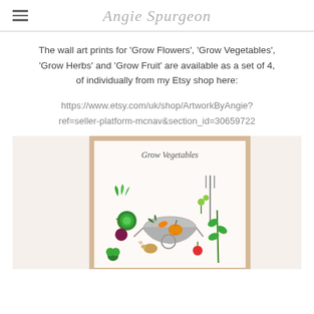Angie Spurgeon
The wall art prints for 'Grow Flowers', 'Grow Vegetables', 'Grow Herbs' and 'Grow Fruit' are available as a set of 4, of individually from my Etsy shop here:
https://www.etsy.com/uk/shop/ArtworkByAngie?ref=seller-platform-mcnav&section_id=30659722
[Figure (photo): A framed 'Grow Vegetables' art print showing illustrated vegetables, a wheelbarrow, snail, garden fork, and the text 'Grow Vegetables', displayed in a wooden frame against a light background.]